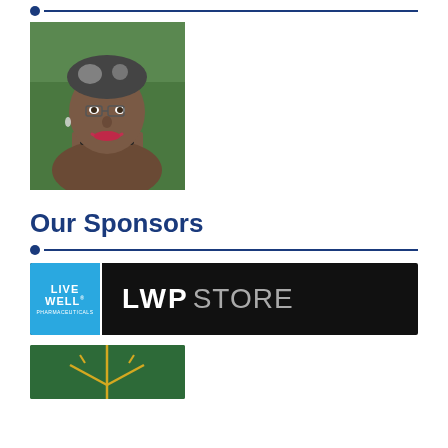[Figure (photo): Portrait photo of a smiling woman with short grey and black hair, wearing a black choker necklace, outdoors with green background]
Our Sponsors
[Figure (logo): Live Well Pharmaceuticals LWP Store logo — blue square with LIVE WELL text on left, black background with LWP STORE text in white/grey]
[Figure (logo): Green logo partially visible at bottom of page with yellow/gold starburst or plant design]